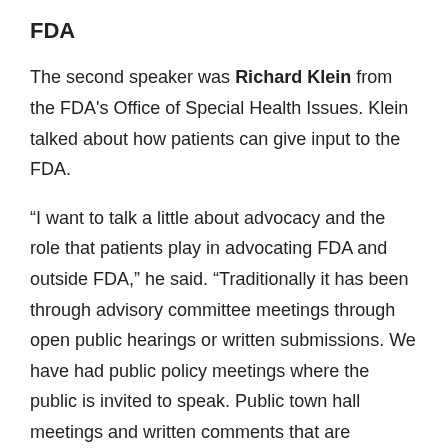FDA
The second speaker was Richard Klein from the FDA's Office of Special Health Issues. Klein talked about how patients can give input to the FDA.
“I want to talk a little about advocacy and the role that patients play in advocating FDA and outside FDA,” he said. “Traditionally it has been through advisory committee meetings through open public hearings or written submissions. We have had public policy meetings where the public is invited to speak. Public town hall meetings and written comments that are requested to the Federal Registry.”
He referred to advocacy by patients with HIV/AIDS back